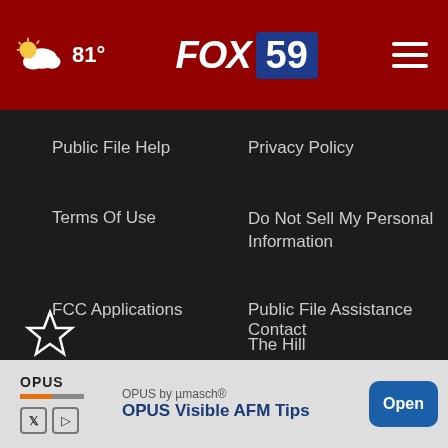FOX 59 — 81° weather header with hamburger menu
Public File Help
Privacy Policy
Terms Of Use
Do Not Sell My Personal Information
FCC Applications
Public File Assistance Contact
The Hill
NewsNation
BestReviews
Content Licensing
Nexstar Digital
[Figure (screenshot): Advertisement banner: OPUS by µmasch® OPUS Visible AFM Tips with Open button]
[Figure (logo): Nexstar logo star mark at bottom left]